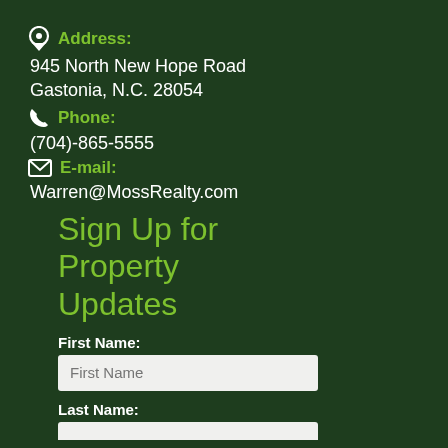Address:
945 North New Hope Road
Gastonia, N.C. 28054
Phone:
(704)-865-5555
E-mail:
Warren@MossRealty.com
Sign Up for Property Updates
First Name:
Last Name: